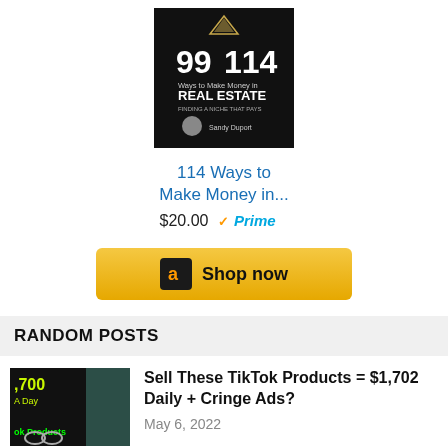[Figure (photo): Book cover: 99/114 Ways to Make Money in Real Estate, dark background with author photo]
114 Ways to Make Money in...
$20.00  ✓Prime
[Figure (other): Amazon Shop now button with Amazon logo]
RANDOM POSTS
[Figure (photo): TikTok products thumbnail showing $1,700 A Day and TikTok Products text]
Sell These TikTok Products = $1,702 Daily + Cringe Ads?
May 6, 2022
[Figure (photo): Two people talking thumbnail for How To Become A Millionaire article]
How To Become A Millionaire – The Truth No One Tells You
November 14, 2021